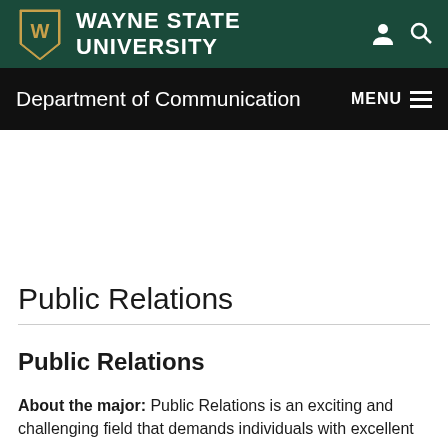[Figure (logo): Wayne State University logo with shield and university name in white text on dark green header bar with person and search icons]
Department of Communication   MENU
Public Relations
Public Relations
About the major:  Public Relations is an exciting and challenging field that demands individuals with excellent